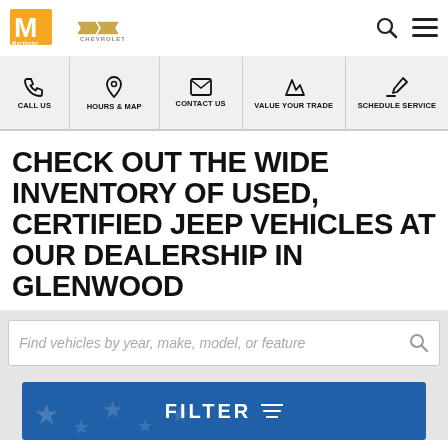Marthaler Chevrolet Glenwood
[Figure (screenshot): Navigation bar with icons: Call Us, Hours & Map, Contact Us, Value Your Trade, Schedule Service]
CHECK OUT THE WIDE INVENTORY OF USED, CERTIFIED JEEP VEHICLES AT OUR DEALERSHIP IN GLENWOOD
Find vehicles by year, make, model, or feature
FILTER